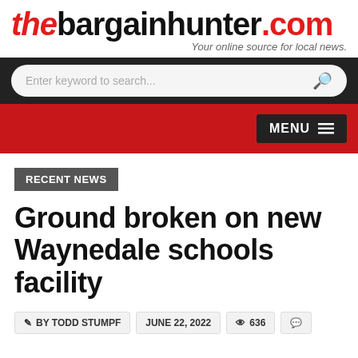thebargainhunter.com — Your online source for local news.
[Figure (screenshot): Search bar with 'Enter keyword to search...' placeholder and magnifying glass icon on dark background]
[Figure (screenshot): Red navigation bar with dark MENU button and hamburger icon]
RECENT NEWS
Ground broken on new Waynedale schools facility
BY TODD STUMPF   JUNE 22, 2022   636